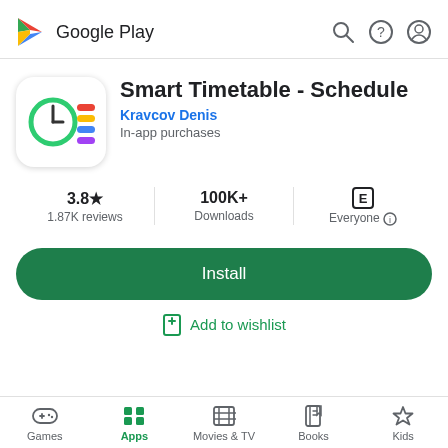[Figure (logo): Google Play logo with triangular play button icon in red, yellow, green, blue and text 'Google Play']
Smart Timetable - Schedule
Kravcov Denis
In-app purchases
3.8★
1.87K reviews
100K+
Downloads
Everyone
Install
Add to wishlist
Games  Apps  Movies & TV  Books  Kids